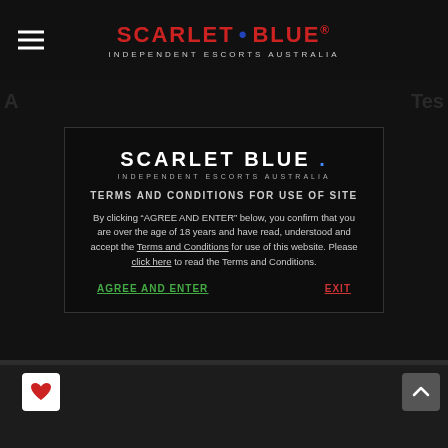[Figure (logo): Scarlet Blue logo in red and blue with text INDEPENDENT ESCORTS AUSTRALIA in nav bar]
[Figure (screenshot): Background page showing partial escort profile images with modal overlay]
SCARLET BLUE . INDEPENDENT ESCORTS AUSTRALIA
TERMS AND CONDITIONS FOR USE OF SITE
By clicking “AGREE AND ENTER” below, you confirm that you are over the age of 18 years and have read, understood and accept the Terms and Conditions for use of this website. Please click here to read the Terms and Conditions.
AGREE AND ENTER
EXIT